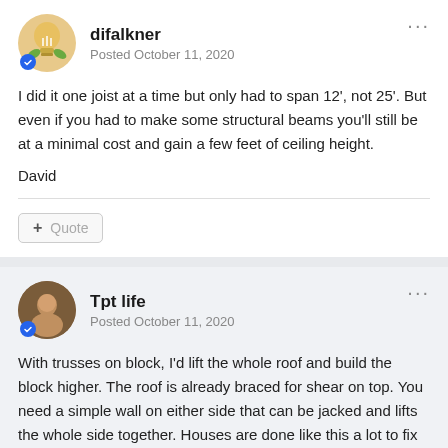[Figure (illustration): Avatar of user difalkner - cartoon lightbulb character on beige background, circular profile picture with blue badge]
difalkner
Posted October 11, 2020
I did it one joist at a time but only had to span 12', not 25'.  But even if you had to make some structural beams you'll still be at a minimal cost and gain a few feet of ceiling height.
David
[Figure (illustration): Avatar of user Tpt life - circular profile photo of a person, with blue badge]
Tpt life
Posted October 11, 2020
With trusses on block, I'd lift the whole roof and build the block higher. The roof is already braced for shear on top. You need a simple wall on either side that can be jacked and lifts the whole side together. Houses are done like this a lot to fix foundations and sagging porches. You are simply moving higher and lifting